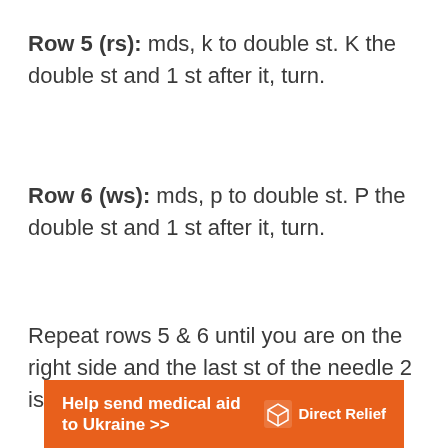Row 5 (rs): mds, k to double st. K the double st and 1 st after it, turn.
Row 6 (ws): mds, p to double st. P the double st and 1 st after it, turn.
Repeat rows 5 & 6 until you are on the right side and the last st of the needle 2 is double st. Knit the st.
[Figure (infographic): Orange banner ad: 'Help send medical aid to Ukraine >>' with Direct Relief logo on the right]